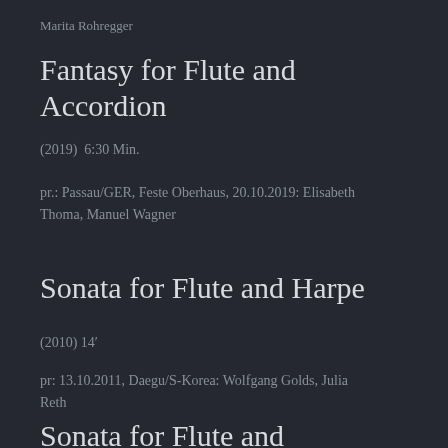Marita Rohregger
Fantasy for Flute and Accordion
(2019)  6:30 Min.
pr.: Passau/GER, Feste Oberhaus, 20.10.2019: Elisabeth Thoma, Manuel Wagner
Sonata for Flute and Harpe
(2010) 14′
pr: 13.10.2011, Daegu/S-Korea: Wolfgang Golds, Julia Reth
Sonata for Flute and Vibraphone